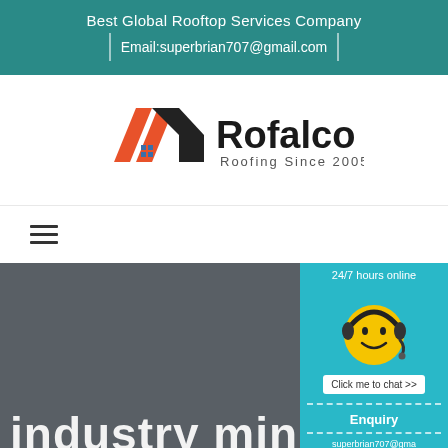Best Global Rooftop Services Company
Email:superbrian707@gmail.com
[Figure (logo): Rofalco roofing company logo with orange and dark roof icon and text 'Rofalco Roofing Since 2005']
[Figure (infographic): Hamburger/menu icon (three horizontal lines)]
[Figure (infographic): Customer service chat widget showing '24/7 hours online', smiley face with headset, 'Click me to chat >>' button, 'Enquiry' section, and partial email 'superbrian707@gma']
industry mining f...